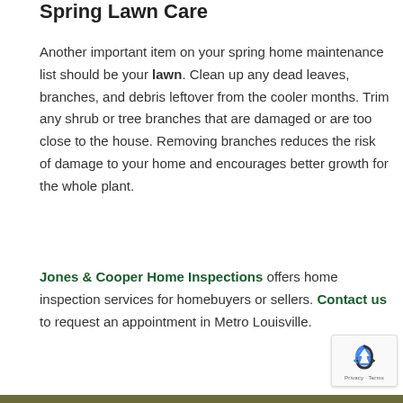Spring Lawn Care
Another important item on your spring home maintenance list should be your lawn. Clean up any dead leaves, branches, and debris leftover from the cooler months. Trim any shrub or tree branches that are damaged or are too close to the house. Removing branches reduces the risk of damage to your home and encourages better growth for the whole plant.
Jones & Cooper Home Inspections offers home inspection services for homebuyers or sellers. Contact us to request an appointment in Metro Louisville.
[Figure (logo): reCAPTCHA badge with recycling-style arrow icon and Privacy · Terms text]